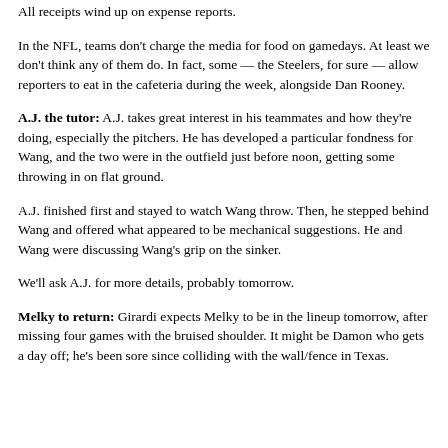All receipts wind up on expense reports.
In the NFL, teams don't charge the media for food on gamedays. At least we don't think any of them do. In fact, some — the Steelers, for sure — allow reporters to eat in the cafeteria during the week, alongside Dan Rooney.
A.J. the tutor: A.J. takes great interest in his teammates and how they're doing, especially the pitchers. He has developed a particular fondness for Wang, and the two were in the outfield just before noon, getting some throwing in on flat ground.
A.J. finished first and stayed to watch Wang throw. Then, he stepped behind Wang and offered what appeared to be mechanical suggestions. He and Wang were discussing Wang's grip on the sinker.
We'll ask A.J. for more details, probably tomorrow.
Melky to return: Girardi expects Melky to be in the lineup tomorrow, after missing four games with the bruised shoulder. It might be Damon who gets a day off; he's been sore since colliding with the wall/fence in Texas.